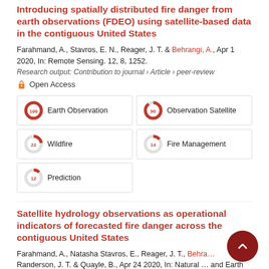Introducing spatially distributed fire danger from earth observations (FDEO) using satellite-based data in the contiguous United States
Farahmand, A., Stavros, E. N., Reager, J. T. & Behrangi, A., Apr 1 2020, In: Remote Sensing. 12, 8, 1252.
Research output: Contribution to journal › Article › peer-review
Open Access
[Figure (infographic): Five keyword badges with donut chart percentage indicators: Earth Observation 100%, Observation Satellite 90%, Wildfire 22%, Fire Management 14%, Prediction 12%]
Satellite hydrology observations as operational indicators of forecasted fire danger across the contiguous United States
Farahmand, A., Natasha Stavros, E., Reager, J. T., Behrangi… Randerson, J. T. & Quayle, B., Apr 24 2020, In: Natural … and Earth System Sciences. 20, 4, p. 1097-1106 10 p.
Research output: Contribution to journal › Article › peer-review